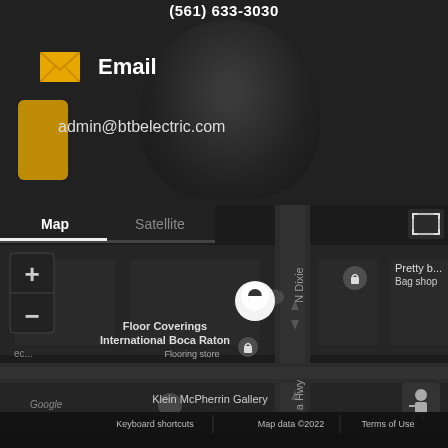(561) 633-3030
Email
admin@btbelectric.com
[Figure (map): Google Maps dark-mode map showing location pin near Floor Coverings International Boca Raton flooring store, with Map/Satellite tab controls, zoom controls, N Dixie road label, Klein McPherrin Gallery nearby, Pretty Bag shop, Google logo, map data 2022 attribution, Keyboard shortcuts and Terms of Use links]